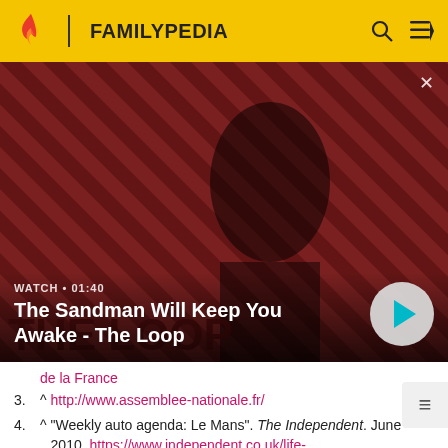FAMILYPEDIA
[Figure (screenshot): Video thumbnail showing a dark-cloaked figure with a raven on their shoulder against a red and black striped background, promoting 'The Sandman Will Keep You Awake - The Loop'. WATCH • 01:40 badge visible. Play button on right.]
de la France
3. ^ http://www.assemblee-nationale.fr/
4. ^ "Weekly auto agenda: Le Mans". The Independent. June 2010. https://www.independent.co.uk/life-style/motoring/weekly-auto-agenda-le-mans-1997073...